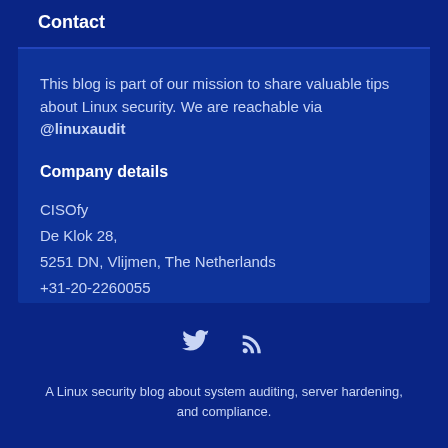Contact
This blog is part of our mission to share valuable tips about Linux security. We are reachable via @linuxaudit
Company details
CISOfy
De Klok 28,
5251 DN, Vlijmen, The Netherlands
+31-20-2260055
Website: https://cisofy.com
[Figure (infographic): Twitter bird icon and RSS feed icon in white/light blue]
A Linux security blog about system auditing, server hardening, and compliance.